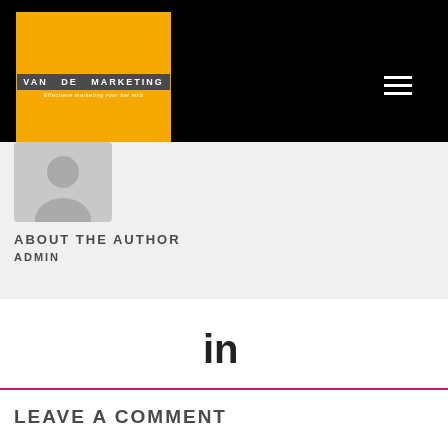[Figure (logo): Van de Marketing logo - yellow square with dark banner text 'VAN DE MARKETING' and subtitle 'Effectieve marketing voor het mkb']
ABOUT THE AUTHOR
ADMIN
[Figure (logo): LinkedIn icon]
LEAVE A COMMENT